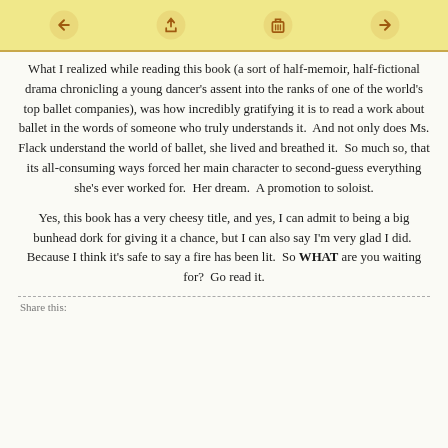[Figure (other): Toolbar with social/action icons on a yellow background: reply/back arrow, share/upload arrow, trash/delete, and forward arrow icons in brown/orange color]
What I realized while reading this book (a sort of half-memoir, half-fictional drama chronicling a young dancer's assent into the ranks of one of the world's top ballet companies), was how incredibly gratifying it is to read a work about ballet in the words of someone who truly understands it.  And not only does Ms. Flack understand the world of ballet, she lived and breathed it.  So much so, that its all-consuming ways forced her main character to second-guess everything she's ever worked for.  Her dream.  A promotion to soloist.
Yes, this book has a very cheesy title, and yes, I can admit to being a big bunhead dork for giving it a chance, but I can also say I'm very glad I did.  Because I think it's safe to say a fire has been lit.  So WHAT are you waiting for?  Go read it.
Share this: